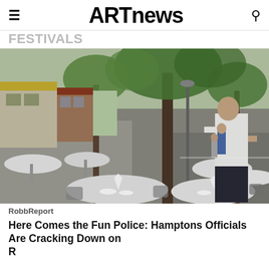ARTnews
FESTIVALS
[Figure (photo): Outdoor restaurant dining tables set with white tablecloths along a tree-lined sidewalk street in the Hamptons. A server in a white t-shirt stands near the tables. Storefronts and parked cars are visible in the background.]
RobbReport
Here Comes the Fun Police: Hamptons Officials Are Cracking Down on Restaurants Over Outdoor Dining